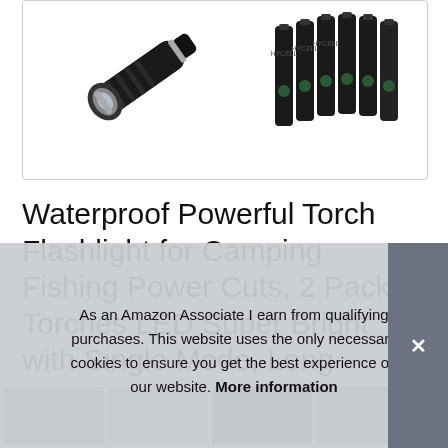[Figure (photo): Product image showing a black tactical flashlight/torch on the left and a pack of AAA batteries on the right, on a white background inside a bordered box.]
Waterproof Powerful Torch Flashlight for Camping Fishing Power Cuts, 2 Pack Torches LED Super Bright with Single Mode, Long Working Time, LETMY LED Torch. 8 AAA Batteries Inc
As an Amazon Associate I earn from qualifying purchases. This website uses the only necessary cookies to ensure you get the best experience on our website. More information
[Figure (photo): Thumbnail strip showing small product images at the bottom of the page, partially visible.]